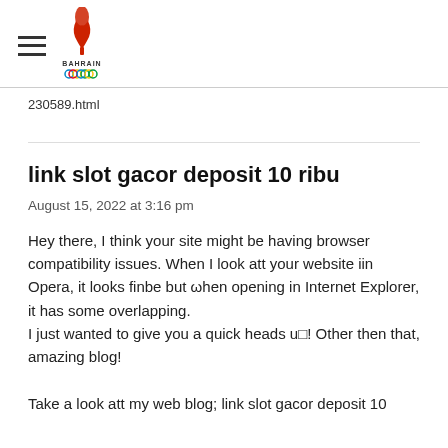Bahrain Olympic Committee (logo and hamburger menu)
230589.html
link slot gacor deposit 10 ribu
August 15, 2022 at 3:16 pm
Hey there, I think your site might be having browser compatibility issues. When I look att your website iin Opera, it looks finbe but ωhen opening in Internet Explorer, it has some overlapping.
I just wanted to give you a quick heads u! Other then that,
amazing blog!
Take a look att my web blog; link slot gacor deposit 10